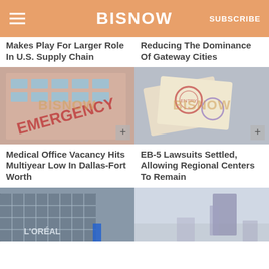BISNOW
Makes Play For Larger Role In U.S. Supply Chain
Reducing The Dominance Of Gateway Cities
[Figure (photo): Emergency department exterior sign on a building]
[Figure (photo): Open passport with visa stamps]
Medical Office Vacancy Hits Multiyear Low In Dallas-Fort Worth
EB-5 Lawsuits Settled, Allowing Regional Centers To Remain
[Figure (photo): L'Oreal building exterior with glass facade]
[Figure (photo): Skyscraper in foggy city skyline]